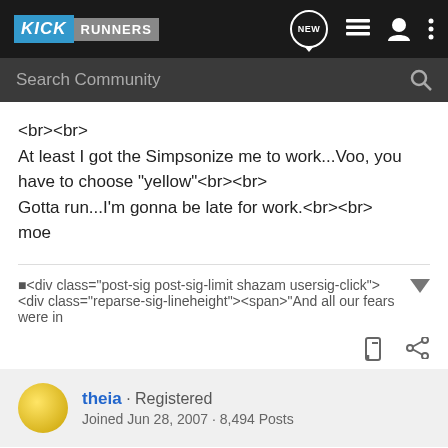[Figure (screenshot): KickRunners community forum website header with logo, search bar, and navigation icons]
<br><br>
At least I got the Simpsonize me to work...Voo, you have to choose "yellow"<br><br>
Gotta run...I'm gonna be late for work.<br><br>
moe
■<div class="post-sig post-sig-limit shazam usersig-click"><div class="reparse-sig-lineheight"><span>"And all our fears were in
theia · Registered
Joined Jun 28, 2007 · 8,494 Posts